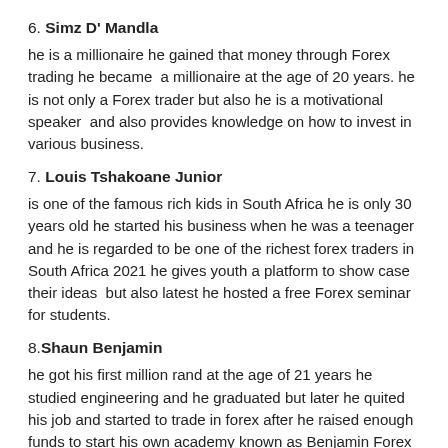6. Simz D' Mandla
he is a millionaire he gained that money through Forex trading he became a millionaire at the age of 20 years. he is not only a Forex trader but also he is a motivational speaker and also provides knowledge on how to invest in various business.
7. Louis Tshakoane Junior
is one of the famous rich kids in South Africa he is only 30 years old he started his business when he was a teenager and he is regarded to be one of the richest forex traders in South Africa 2021 he gives youth a platform to show case their ideas but also latest he hosted a free Forex seminar for students.
8. Shaun Benjamin
he got his first million rand at the age of 21 years he studied engineering and he graduated but later he quited his job and started to trade in forex after he raised enough funds to start his own academy known as Benjamin Forex Academy.